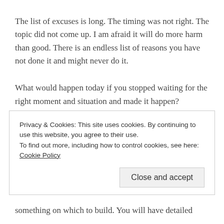The list of excuses is long. The timing was not right. The topic did not come up. I am afraid it will do more harm than good. There is an endless list of reasons you have not done it and might never do it.
What would happen today if you stopped waiting for the right moment and situation and made it happen?
REPORT THIS AD
Privacy & Cookies: This site uses cookies. By continuing to use this website, you agree to their use.
To find out more, including how to control cookies, see here: Cookie Policy
Close and accept
something on which to build. You will have detailed